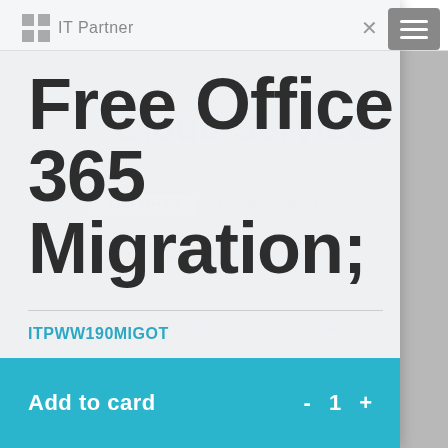IT Partner
Free Office 365 Migration;
ITPWW190MIGOT
Free Office 365 Migration;
Duration: 7 days
Add to card   -  1  +